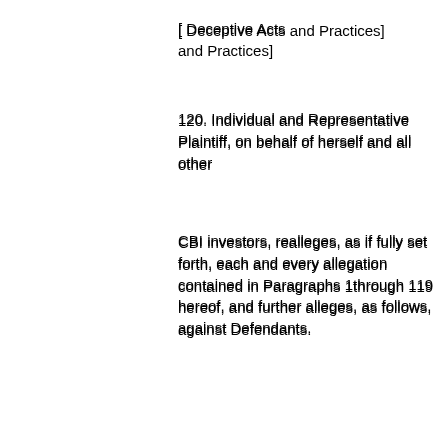[ Deceptive Acts and Practices]
120. Individual and Representative Plaintiff, on behalf of herself and all other
CBI investors, realleges, as if fully set forth, each and every allegation contained in Paragraphs 1through 119 hereof, and further alleges, as follows, against Defendants.
121. The acts, omissions, misrepresentations, practices, and non-disclosures of
Defendants, and each of them, as alleged hereinabove,